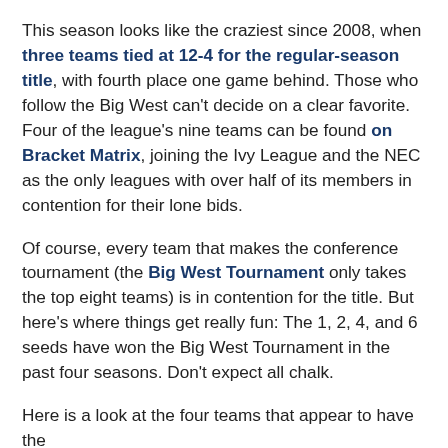This season looks like the craziest since 2008, when three teams tied at 12-4 for the regular-season title, with fourth place one game behind. Those who follow the Big West can't decide on a clear favorite. Four of the league's nine teams can be found on Bracket Matrix, joining the Ivy League and the NEC as the only leagues with over half of its members in contention for their lone bids.
Of course, every team that makes the conference tournament (the Big West Tournament only takes the top eight teams) is in contention for the title. But here's where things get really fun: The 1, 2, 4, and 6 seeds have won the Big West Tournament in the past four seasons. Don't expect all chalk.
Here is a look at the four teams that appear to have the